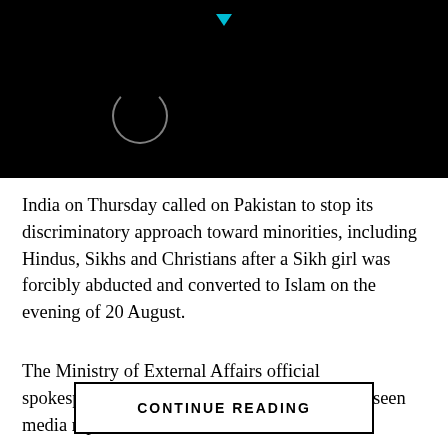[Figure (screenshot): Black header area with a loading spinner circle (white outline) and a small cyan downward-pointing arrow at the top center]
India on Thursday called on Pakistan to stop its discriminatory approach toward minorities, including Hindus, Sikhs and Christians after a Sikh girl was forcibly abducted and converted to Islam on the evening of 20 August.
The Ministry of External Affairs official spokesperson, Arindam Bagchi said, “We have seen media reports on kidnapping, forced conversion and marriage. It was also reported that police refused to file FIR, following which the family and Sikh community members staged a
CONTINUE READING